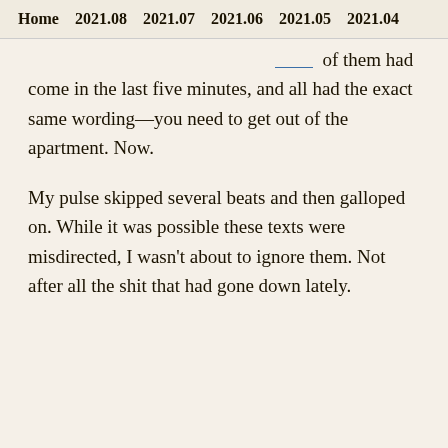Home  2021.08  2021.07  2021.06  2021.05  2021.04
of them had come in the last five minutes, and all had the exact same wording—you need to get out of the apartment. Now.
My pulse skipped several beats and then galloped on. While it was possible these texts were misdirected, I wasn't about to ignore them. Not after all the shit that had gone down lately.